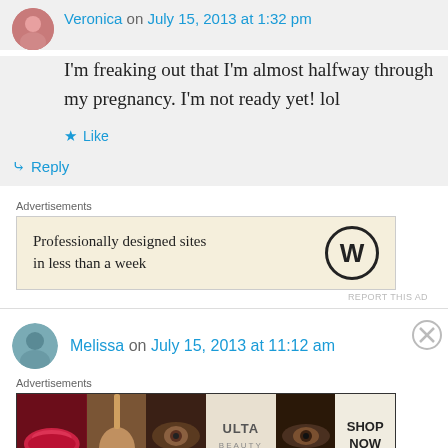Veronica on July 15, 2013 at 1:32 pm
I'm freaking out that I'm almost halfway through my pregnancy. I'm not ready yet! lol
Like
Reply
Advertisements
[Figure (screenshot): WordPress advertisement: Professionally designed sites in less than a week]
REPORT THIS AD
Melissa on July 15, 2013 at 11:12 am
Advertisements
[Figure (screenshot): ULTA beauty advertisement showing makeup products with SHOP NOW call to action]